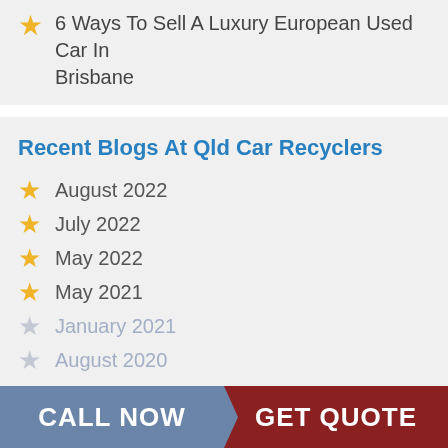6 Ways To Sell A Luxury European Used Car In Brisbane
Recent Blogs At Qld Car Recyclers
August 2022
July 2022
May 2022
May 2021
January 2021
August 2020
CALL NOW
GET QUOTE